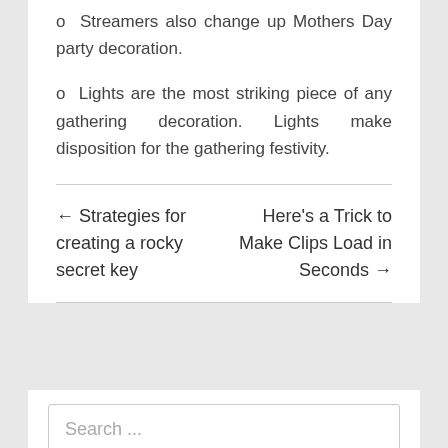o  Streamers also change up Mothers Day party decoration.
o  Lights are the most striking piece of any gathering decoration. Lights make disposition for the gathering festivity.
← Strategies for creating a rocky secret key
Here's a Trick to Make Clips Load in Seconds →
Search ...